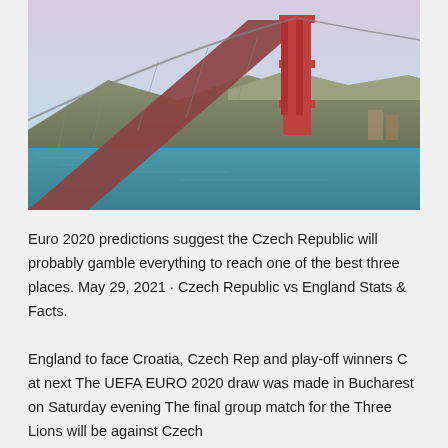[Figure (photo): Photo of the Golden Gate Bridge viewed from below at an angle, with reddish-orange towers and suspension cables visible. Background shows hills, blue sky, and the bay water below.]
Euro 2020 predictions suggest the Czech Republic will probably gamble everything to reach one of the best three places. May 29, 2021 · Czech Republic vs England Stats & Facts.
England to face Croatia, Czech Rep and play-off winners C at next The UEFA EURO 2020 draw was made in Bucharest on Saturday evening The final group match for the Three Lions will be against Czech